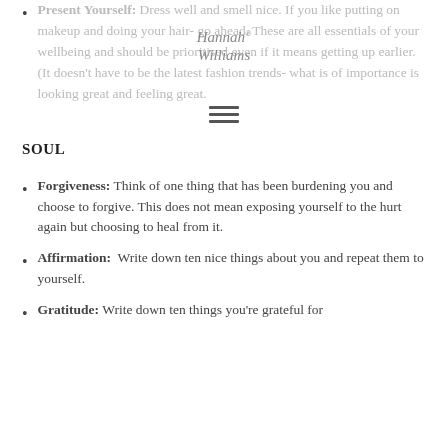Present Yourself: Dress well and smell nice. If you like putting on makeup and doing your hair- go ahead. These are all essentials of your wellbeing and should be prioritised even if it means getting up earlier. (It doesn't have to be the latest fashion trends- what is of importance is looking great and feeling great.
SOUL
Forgiveness: Think of one thing that has been burdening you and choose to forgive. This does not mean exposing yourself to the hurt again but choosing to heal from it.
Affirmation: Write down ten nice things about you and repeat them to yourself.
Gratitude: Write down ten things you're grateful for